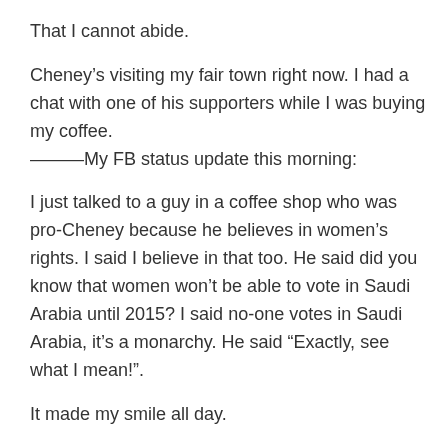That I cannot abide.
Cheney’s visiting my fair town right now. I had a chat with one of his supporters while I was buying my coffee.
———My FB status update this morning:
I just talked to a guy in a coffee shop who was pro-Cheney because he believes in women’s rights. I said I believe in that too. He said did you know that women won’t be able to vote in Saudi Arabia until 2015? I said no-one votes in Saudi Arabia, it’s a monarchy. He said “Exactly, see what I mean!”.
It made my smile all day.